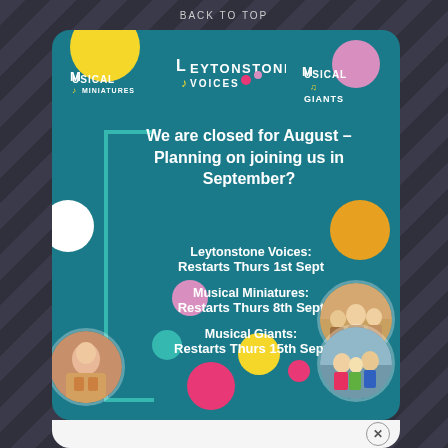BACK TO TOP
[Figure (infographic): Promotional card for Musical Miniatures, Leytonstone Voices, and Musical Giants music programs on teal background with decorative circles and photos of children]
We are closed for August – Planning on joining us in September?
Leytonstone Voices: Restarts Thurs 1st Sept
Musical Miniatures: Restarts Thurs 8th Sept
Musical Giants: Restarts Thurs 15th Sept